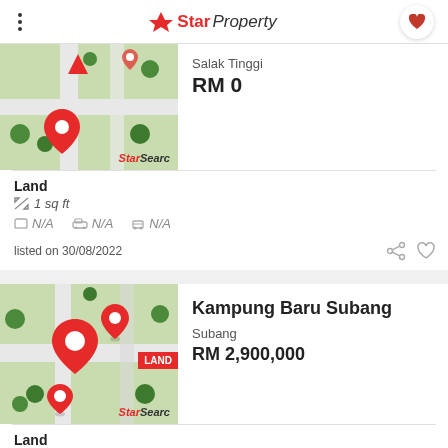StarProperty
[Figure (map): StarSearch map thumbnail showing location pin for Salak Tinggi property]
Salak Tinggi
RM 0
Land
1 sq ft
N/A  N/A  N/A
listed on 30/08/2022
[Figure (map): StarSearch map thumbnail showing multiple location pins for Kampung Baru Subang land property with LAND badge]
Kampung Baru Subang
Subang
RM 2,900,000
Land